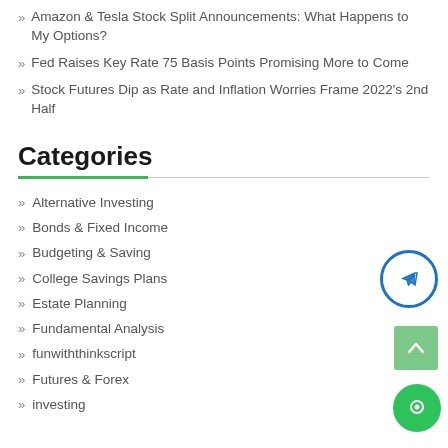Amazon & Tesla Stock Split Announcements: What Happens to My Options?
Fed Raises Key Rate 75 Basis Points Promising More to Come
Stock Futures Dip as Rate and Inflation Worries Frame 2022's 2nd Half
Categories
Alternative Investing
Bonds & Fixed Income
Budgeting & Saving
College Savings Plans
Estate Planning
Fundamental Analysis
funwiththinkscript
Futures & Forex
investing